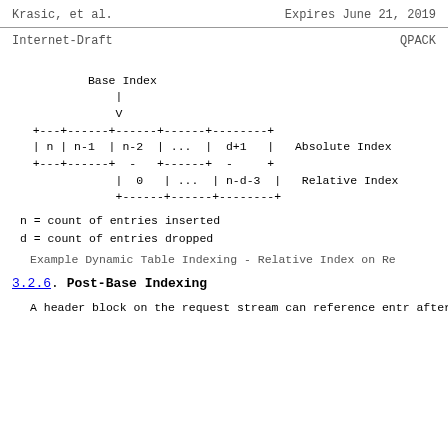Krasic, et al.    Expires June 21, 2019
Internet-Draft    QPACK
[Figure (schematic): ASCII diagram showing Base Index arrow pointing down to a table with Absolute Index row (n | n-1 | n-2 | ... | d+1) and Relative Index row (0 | ... | n-d-3), with dashed box borders.]
n = count of entries inserted
d = count of entries dropped
Example Dynamic Table Indexing - Relative Index on Re
3.2.6.  Post-Base Indexing
A header block on the request stream can reference entr after the entry identified by the Base Index.  This all to process a header block in a single pass and include  entries added while processing this (or other) header b added entries are referenced using Post-Base instructio for Post-Base instructions increase in the same directi indices, but the zero value is one higher than the Base